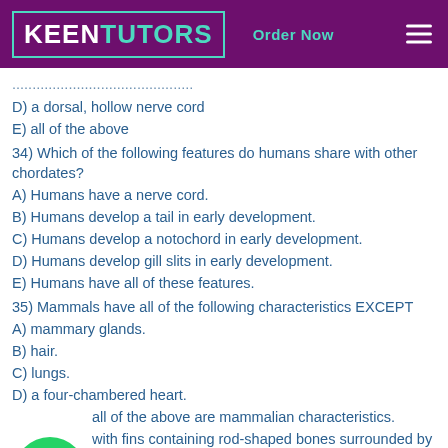KEENTUTORS  Order Now
D) a dorsal, hollow nerve cord
E) all of the above
34) Which of the following features do humans share with other chordates?
A) Humans have a nerve cord.
B) Humans develop a tail in early development.
C) Humans develop a notochord in early development.
D) Humans develop gill slits in early development.
E) Humans have all of these features.
35) Mammals have all of the following characteristics EXCEPT
A) mammary glands.
B) hair.
C) lungs.
D) a four-chambered heart.
E) all of the above are mammalian characteristics.
...with fins containing rod-shaped bones surrounded by ... a(n)
A) hagfish.